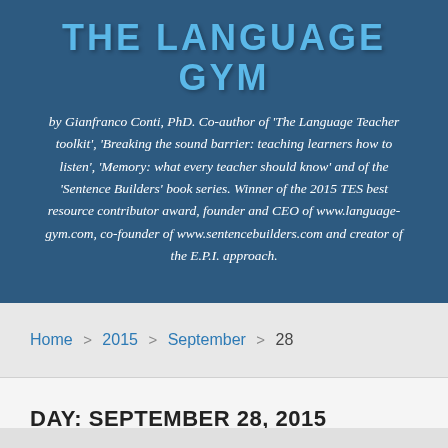THE LANGUAGE GYM
by Gianfranco Conti, PhD. Co-author of 'The Language Teacher toolkit', 'Breaking the sound barrier: teaching learners how to listen', 'Memory: what every teacher should know' and of the 'Sentence Builders' book series. Winner of the 2015 TES best resource contributor award, founder and CEO of www.language-gym.com, co-founder of www.sentencebuilders.com and creator of the E.P.I. approach.
Home > 2015 > September > 28
DAY: SEPTEMBER 28, 2015